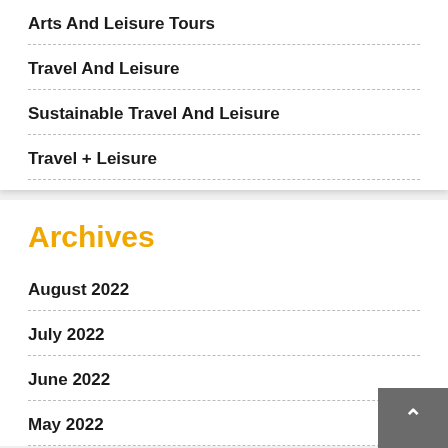Arts And Leisure Tours
Travel And Leisure
Sustainable Travel And Leisure
Travel + Leisure
Archives
August 2022
July 2022
June 2022
May 2022